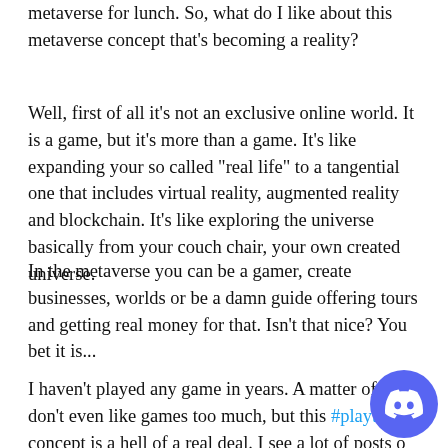metaverse for lunch. So, what do I like about this metaverse concept that's becoming a reality?
Well, first of all it's not an exclusive online world. It is a game, but it's more than a game. It's like expanding your so called "real life" to a tangential one that includes virtual reality, augmented reality and blockchain. It's like exploring the universe basically from your couch chair, your own created universe.
In the metaverse you can be a gamer, create businesses, worlds or be a damn guide offering tours and getting real money for that. Isn't that nice? You bet it is...
I haven't played any game in years. A matter of fact I don't even like games too much, but this #playtoe concept is a hell of a real deal. I see a lot of posts o